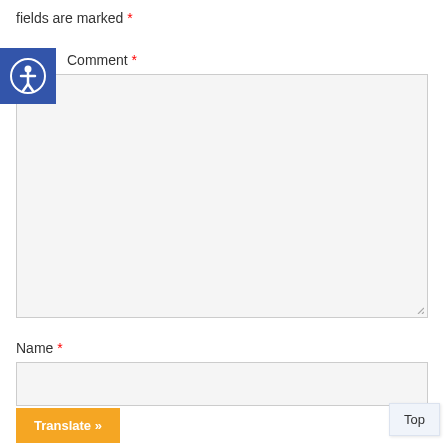fields are marked *
Comment *
[Figure (other): Empty textarea/comment input field with light gray background and resize handle]
Name *
[Figure (other): Single-line text input field for Name with light gray background]
[Figure (other): Accessibility icon button - blue square with white circle containing person figure]
Translate »
Top